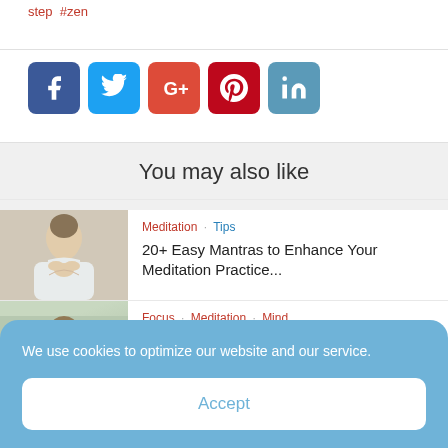step #zen
[Figure (other): Social media share buttons: Facebook, Twitter, Google+, Pinterest, LinkedIn]
You may also like
[Figure (photo): Woman meditating with hands in prayer position, eyes closed, white top]
Meditation · Tips
20+ Easy Mantras to Enhance Your Meditation Practice...
[Figure (photo): Woman meditating, partial view]
Focus · Meditation · Mind
We use cookies to optimize our website and our service.
Accept